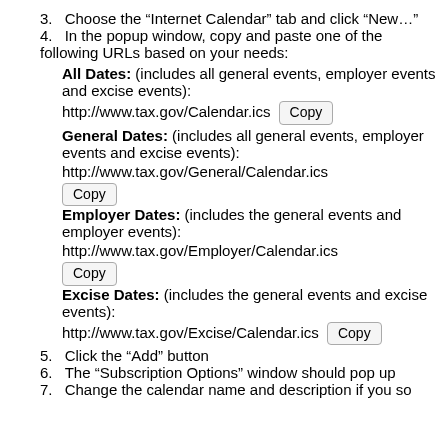3. Choose the “Internet Calendar” tab and click “New…”
4. In the popup window, copy and paste one of the following URLs based on your needs:
All Dates: (includes all general events, employer events and excise events): http://www.tax.gov/Calendar.ics [Copy]
General Dates: (includes all general events, employer events and excise events): http://www.tax.gov/General/Calendar.ics [Copy]
Employer Dates: (includes the general events and employer events): http://www.tax.gov/Employer/Calendar.ics [Copy]
Excise Dates: (includes the general events and excise events): http://www.tax.gov/Excise/Calendar.ics [Copy]
5. Click the “Add” button
6. The “Subscription Options” window should pop up
7. Change the calendar name and description if you so